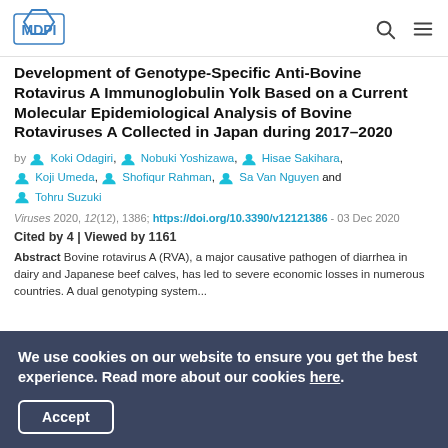MDPI
Development of Genotype-Specific Anti-Bovine Rotavirus A Immunoglobulin Yolk Based on a Current Molecular Epidemiological Analysis of Bovine Rotaviruses A Collected in Japan during 2017–2020
by Koki Odagiri, Nobuki Yoshizawa, Hisae Sakihara, Koji Umeda, Shofiqur Rahman, Sa Van Nguyen and Tohru Suzuki
Viruses 2020, 12(12), 1386; https://doi.org/10.3390/v12121386 - 03 Dec 2020
Cited by 4 | Viewed by 1161
Abstract Bovine rotavirus A (RVA), a major causative pathogen of diarrhea in dairy and Japanese beef calves, has led to severe economic losses in numerous countries. A dual genotyping system...
We use cookies on our website to ensure you get the best experience. Read more about our cookies here.
Accept